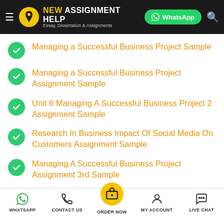NEW ASSIGNMENT HELP — Essay, Dissertation & Assignments
Managing a Successful Business Project Sample
Managing a Successful Business Project Assignment Sample
Unit 6 Managing A Successful Business Project 2 Assignment Sample
Research In Business Impact Of Social Media On Customers Assignment Sample
Managing A Successful Business Project Assignment 3rd Sample
Managing a Successful Business Project
WHATSAPP   CONTACT US   ORDER NOW   MY ACCOUNT   LIVE CHAT